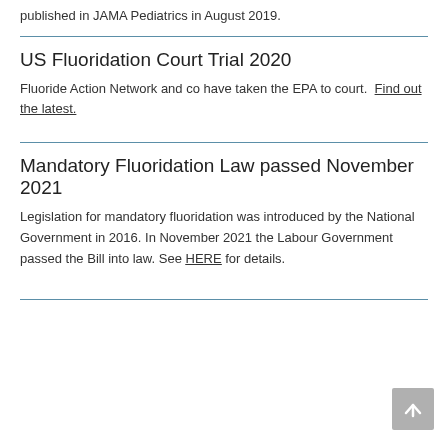published in JAMA Pediatrics in August 2019.
US Fluoridation Court Trial 2020
Fluoride Action Network and co have taken the EPA to court. Find out the latest.
Mandatory Fluoridation Law passed November 2021
Legislation for mandatory fluoridation was introduced by the National Government in 2016. In November 2021 the Labour Government passed the Bill into law. See HERE for details.